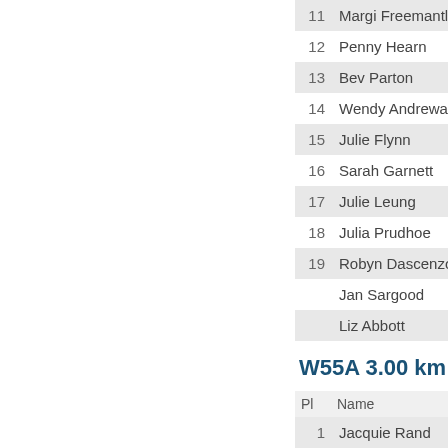| Pl | Name | Cl |
| --- | --- | --- |
| 11 | Margi Freemantle | W |
| 12 | Penny Hearn | W |
| 13 | Bev Parton | W |
| 14 | Wendy Andrewartha | W |
| 15 | Julie Flynn | W |
| 16 | Sarah Garnett | W |
| 17 | Julie Leung | W |
| 18 | Julia Prudhoe | W |
| 19 | Robyn Dascenzo | W |
|  | Jan Sargood | W |
|  | Liz Abbott | W |
W55A 3.00 km 8 C
| Pl | Name | Cl |
| --- | --- | --- |
| 1 | Jacquie Rand | W5 |